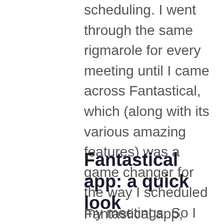scheduling. I went through the same rigmarole for every meeting until I came across Fantastical, which (along with its various amazing features) was a game changer for the way I scheduled my meetings. So I thought, why not share it with others like me who want to get rid of all the hassle that is scheduling a meeting.
Fantastical app: a quick look
Fantastical app, created by Flexibits, improves on the concept of the Apple